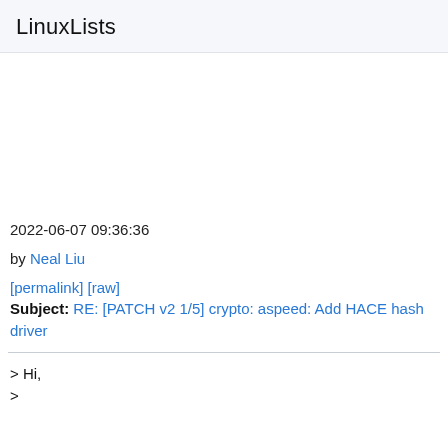LinuxLists
2022-06-07 09:36:36
by Neal Liu
[permalink] [raw]
Subject: RE: [PATCH v2 1/5] crypto: aspeed: Add HACE hash driver
> Hi,
>